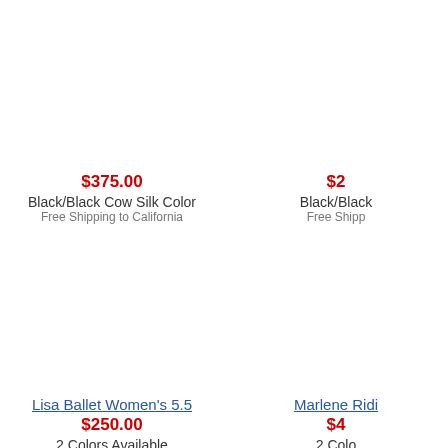$375.00
Black/Black Cow Silk Color
Free Shipping to California
$2...
Black/Black...
Free Shipp...
Lisa Ballet Women's 5.5
$250.00
2 Colors Available
Free Shipping to California
Marlene Ridi...
$4...
2 Colo...
Free Shipp...
Miller Women's 5.5
$195.00
3 Colors Available
Free Shipping to California
Nicki Flat...
$2...
2 Colo...
Free Shipp...